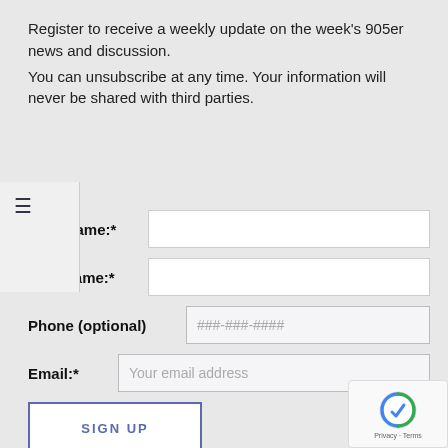Register to receive a weekly update on the week's 905er news and discussion.
You can unsubscribe at any time. Your information will never be shared with third parties.
First Name:*
Last Name:*
Phone (optional) ###-###-####
Email:* Your email address
SIGN UP
Follow on Social Media